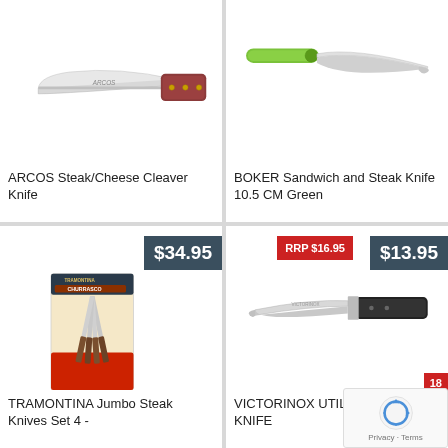[Figure (photo): ARCOS Steak/Cheese Cleaver Knife product image — a cleaver-style knife with a red/brown wooden handle and silver blade with ARCOS branding]
ARCOS Steak/Cheese Cleaver Knife
[Figure (photo): BOKER Sandwich and Steak Knife 10.5 CM Green — a knife with a bright green handle and white/silver blade]
BOKER Sandwich and Steak Knife 10.5 CM Green
[Figure (photo): TRAMONTINA Jumbo Steak Knives Set 4 — a packaged set of 4 steak knives with wooden handles and silver blades, shown in retail packaging]
$34.95
TRAMONTINA Jumbo Steak Knives Set 4 -
[Figure (photo): VICTORINOX UTILITY/STEAK KNIFE — a steak knife with a black handle and silver blade]
RRP $16.95
$13.95
VICTORINOX UTILITY/STEAK KNIFE